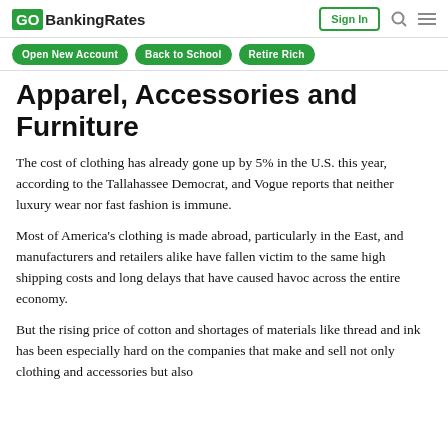GOBankingRates | Sign In
Open New Account | Back to School | Retire Rich
Apparel, Accessories and Furniture
The cost of clothing has already gone up by 5% in the U.S. this year, according to the Tallahassee Democrat, and Vogue reports that neither luxury wear nor fast fashion is immune.
Most of America’s clothing is made abroad, particularly in the East, and manufacturers and retailers alike have fallen victim to the same high shipping costs and long delays that have caused havoc across the entire economy.
But the rising price of cotton and shortages of materials like thread and ink has been especially hard on the companies that make and sell not only clothing and accessories but also